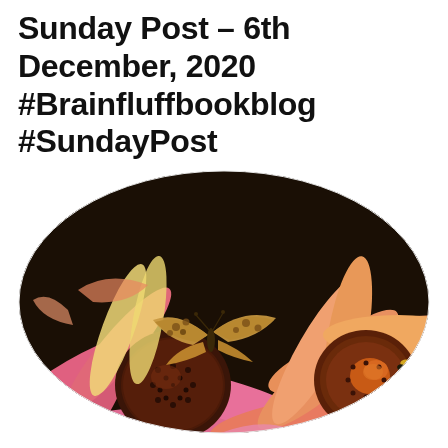Sunday Post – 6th December, 2020 #Brainfluffbookblog #SundayPost
[Figure (photo): Oval-cropped photograph of coneflowers (echinacea) with pink and orange petals and dark spiky centers. A brown/gold fritillary butterfly rests on the central flower. Background is dark brown/black. Another coneflower is partially visible on the right with a bee on it.]